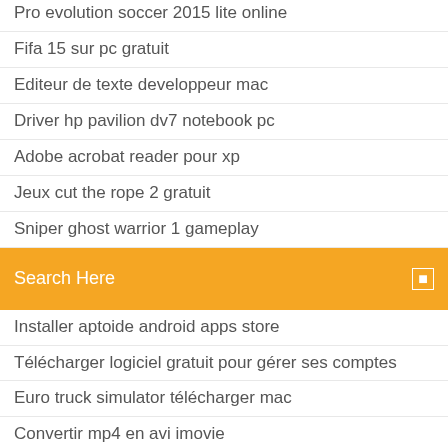Pro evolution soccer 2015 lite online
Fifa 15 sur pc gratuit
Editeur de texte developpeur mac
Driver hp pavilion dv7 notebook pc
Adobe acrobat reader pour xp
Jeux cut the rope 2 gratuit
Sniper ghost warrior 1 gameplay
[Figure (screenshot): Orange search bar with text 'Search Here' and a small icon on the right]
Installer aptoide android apps store
Télécharger logiciel gratuit pour gérer ses comptes
Euro truck simulator télécharger mac
Convertir mp4 en avi imovie
Gi joe le reveil du cobra casting
Farm heroes saga pc gratuit en ligne
Blackberry desktop manager software télécharger
Télécharger format factory for windows 7 free
Imprimante hp deskjet 2050 installation
Télécharger minitool partition wizard complete kuyhaa